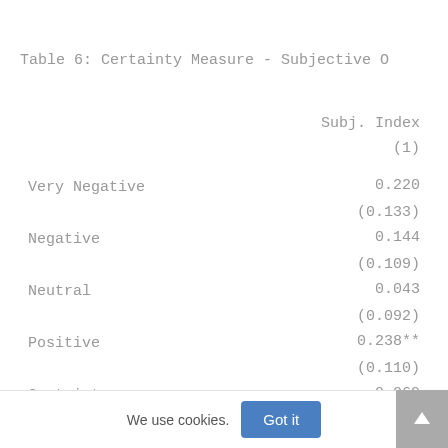Table 6: Certainty Measure - Subjective O
|  | Subj. Index
(1) |
| --- | --- |
| Very Negative | 0.220 |
|  | (0.133) |
| Negative | 0.144 |
|  | (0.109) |
| Neutral | 0.043 |
|  | (0.092) |
| Positive | 0.238** |
|  | (0.110) |
| Certainty | 0.069 |
We use cookies.